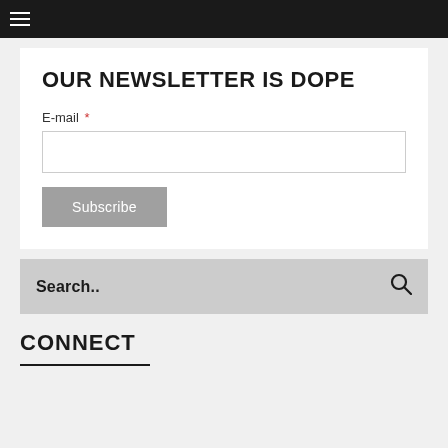≡
OUR NEWSLETTER IS DOPE
E-mail *
Subscribe
Search..
CONNECT